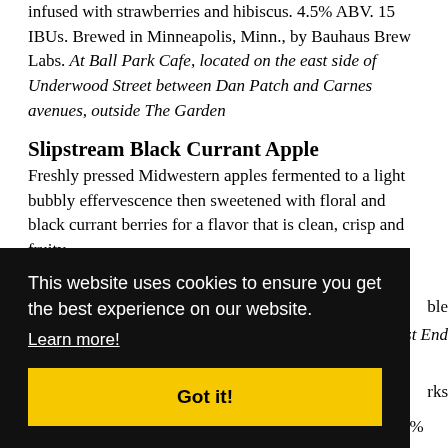infused with strawberries and hibiscus. 4.5% ABV. 15 IBUs. Brewed in Minneapolis, Minn., by Bauhaus Brew Labs. At Ball Park Cafe, located on the east side of Underwood Street between Dan Patch and Carnes avenues, outside The Garden
Slipstream Black Currant Apple
Freshly pressed Midwestern apples fermented to a light bubbly effervescence then sweetened with floral and black currant berries for a flavor that is clean, crisp and fruity. [partially obscured] ble [partially obscured] st End [partially obscured] rks Freewheeler to make a refreshing mimosa or bellini. 5.9%
[Figure (screenshot): Cookie consent banner with black background. Text reads: 'This website uses cookies to ensure you get the best experience on our website.' with a 'Learn more!' link and a yellow 'Got it!' button.]